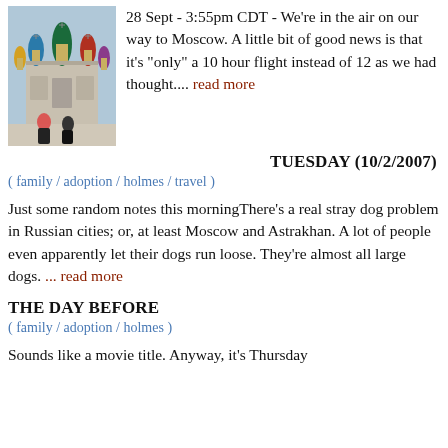[Figure (photo): Photo of Saint Basil's Cathedral in Moscow with people in the foreground]
28 Sept - 3:55pm CDT - We're in the air on our way to Moscow. A little bit of good news is that it's "only" a 10 hour flight instead of 12 as we had thought.... read more
TUESDAY (10/2/2007)
( family / adoption / holmes / travel )
Just some random notes this morningThere's a real stray dog problem in Russian cities; or, at least Moscow and Astrakhan. A lot of people even apparently let their dogs run loose. They're almost all large dogs. ... read more
THE DAY BEFORE
( family / adoption / holmes )
Sounds like a movie title. Anyway, it's Thursday